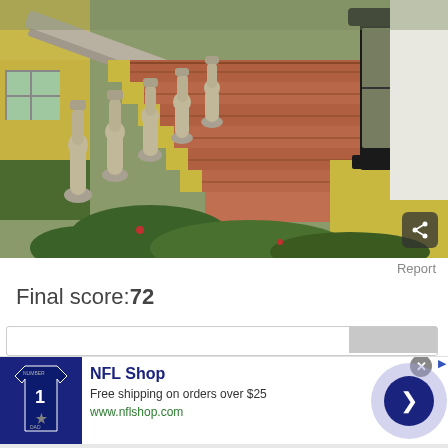[Figure (photo): Exterior brick staircase with ornate stone balusters and a black lantern post on a yellow stucco pedestal, with green plants at the base.]
Report
Final score:72
[Figure (infographic): NFL Shop advertisement banner: jersey image on left, text 'NFL Shop / Free shipping on orders over $25 / www.nflshop.com', with a blue arrow button on the right and an X close button.]